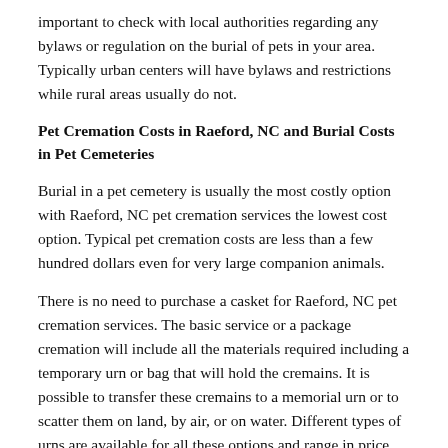important to check with local authorities regarding any bylaws or regulation on the burial of pets in your area. Typically urban centers will have bylaws and restrictions while rural areas usually do not.
Pet Cremation Costs in Raeford, NC and Burial Costs in Pet Cemeteries
Burial in a pet cemetery is usually the most costly option with Raeford, NC pet cremation services the lowest cost option. Typical pet cremation costs are less than a few hundred dollars even for very large companion animals.
There is no need to purchase a casket for Raeford, NC pet cremation services. The basic service or a package cremation will include all the materials required including a temporary urn or bag that will hold the cremains. It is possible to transfer these cremains to a memorial urn or to scatter them on land, by air, or on water. Different types of urns are available for all these options and range in price based on the type, material and size of the urn that you